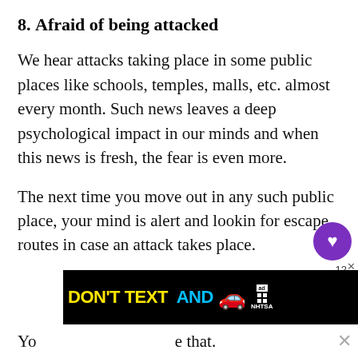8. Afraid of being attacked
We hear attacks taking place in some public places like schools, temples, malls, etc. almost every month. Such news leaves a deep psychological impact in our minds and when this news is fresh, the fear is even more.
The next time you move out in any such public place, your mind is alert and looking for escape routes in case an attack takes place.
[Figure (infographic): Ad banner: DON'T TEXT AND [car emoji] ad with NHTSA branding on black background]
Yo...e that.